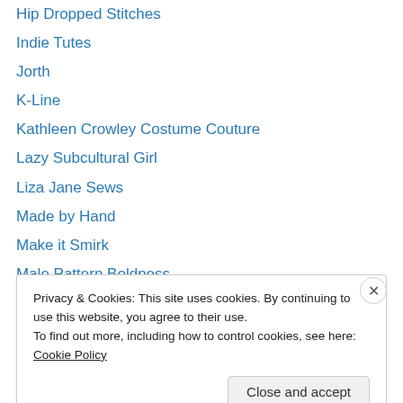Hip Dropped Stitches
Indie Tutes
Jorth
K-Line
Kathleen Crowley Costume Couture
Lazy Subcultural Girl
Liza Jane Sews
Made by Hand
Make it Smirk
Male Pattern Boldness
My Happy Sewing Place
Off the Cuff
Oona Baloona
Privacy & Cookies: This site uses cookies. By continuing to use this website, you agree to their use.
To find out more, including how to control cookies, see here: Cookie Policy